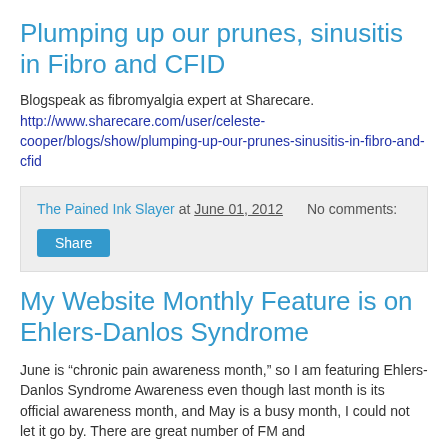Plumping up our prunes, sinusitis in Fibro and CFID
Blogspeak as fibromyalgia expert at Sharecare. http://www.sharecare.com/user/celeste-cooper/blogs/show/plumping-up-our-prunes-sinusitis-in-fibro-and-cfid
The Pained Ink Slayer at June 01, 2012    No comments:
Share
My Website Monthly Feature is on Ehlers-Danlos Syndrome
June is “chronic pain awareness month,” so I am featuring Ehlers-Danlos Syndrome Awareness even though last month is its official awareness month, and May is a busy month, I could not let it go by. There are great number of FM and